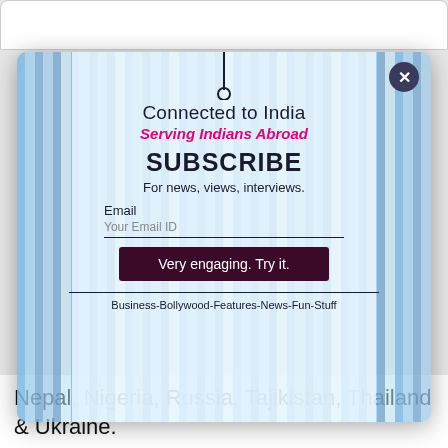Connected to India
Serving Indians Abroad
SUBSCRIBE
For news, views, interviews.
Email
Your Email ID
Very engaging. Try it.
Business-Bollywood-Features-News-Fun-Stuff
Nepal, Nigeria, Russia, Tajikistan, Thailand & Ukraine.